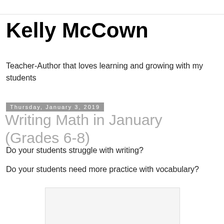Kelly McCown
Teacher-Author that loves learning and growing with my students
Thursday, January 3, 2019
Writing Math in January (Grades 6-8)
Do your students struggle with writing?
Do your students need more practice with vocabulary?
[Figure (other): Blank/placeholder image area]